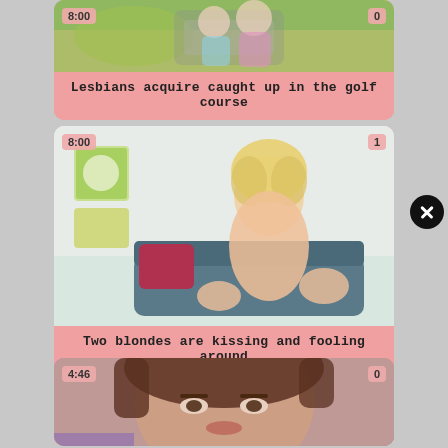[Figure (screenshot): Video thumbnail card 1: outdoor scene with pink caption bar reading 'Lesbians acquire caught up in the golf course'. Duration and count badges visible.]
Lesbians acquire caught up in the golf course
[Figure (screenshot): Video thumbnail card 2: indoor scene with blonde figure, duration badge '8:00', count badge '1', pink caption bar reading 'Two blondes are kissing and fooling around'.]
Two blondes are kissing and fooling around
[Figure (screenshot): Video thumbnail card 3: close-up portrait, duration badge '4:46', count badge '0'. Partially visible.]